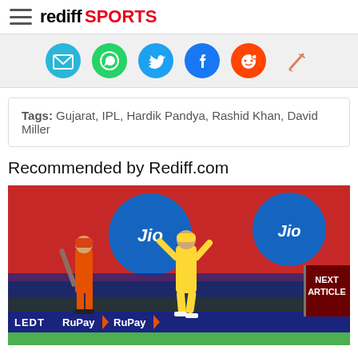rediff SPORTS
[Figure (other): Social sharing icons: email, WhatsApp, Twitter, Facebook, Reddit, pencil/edit]
Tags: Gujarat, IPL, Hardik Pandya, Rashid Khan, David Miller
Recommended by Rediff.com
[Figure (photo): Cricket match photo: CSK bowler in yellow celebrating, RCB batsman in orange in background, Jio advertisement banners, RuPay advertising boards at bottom]